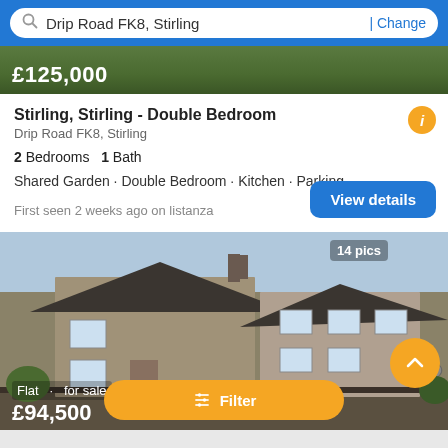Drip Road FK8, Stirling | Change
£125,000
Stirling, Stirling - Double Bedroom
Drip Road FK8, Stirling
2 Bedrooms  1 Bath
Shared Garden · Double Bedroom · Kitchen · Parking
First seen 2 weeks ago on listanza
[Figure (photo): Exterior photo of a two-storey flat/semi-detached house with grey roughcast walls and dark roof, showing windows and fence]
14 pics
Flat for sale
£94,500